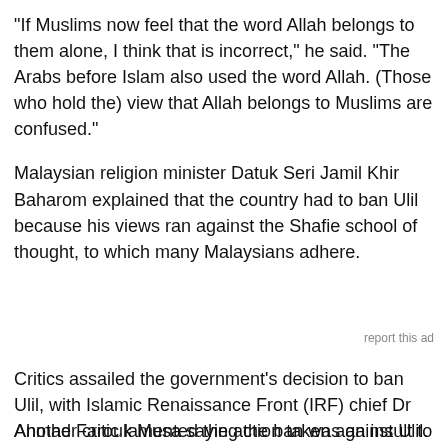"If Muslims now feel that the word Allah belongs to them alone, I think that is incorrect," he said. "The Arabs before Islam also used the word Allah. (Those who hold the) view that Allah belongs to Muslims are confused."
Malaysian religion minister Datuk Seri Jamil Khir Baharom explained that the country had to ban Ulil because his views ran against the Shafie school of thought, to which many Malaysians adhere.
report this ad
Critics assailed the government's decision to ban Ulil, with Islamic Renaissance Front (IRF) chief Dr Ahmad Farouk Musa saying the ban was an insult to their intelligence.
Another critic lamented the action taken against Ulil.